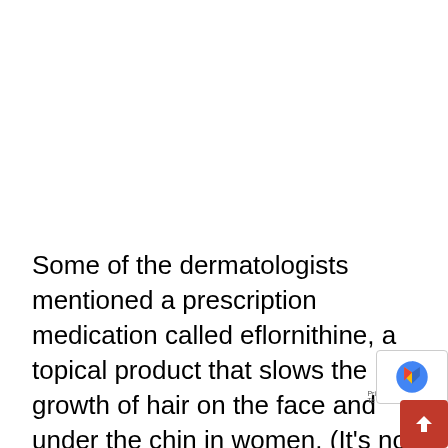Some of the dermatologists mentioned a prescription medication called eflornithine, a topical product that slows the growth of hair on the face and under the chin in women. (It's not recommended for treating other parts of the body.) Eflornithine works by inhibiting an enzyme that is needed for hair to grow, explained Janiene Lu...